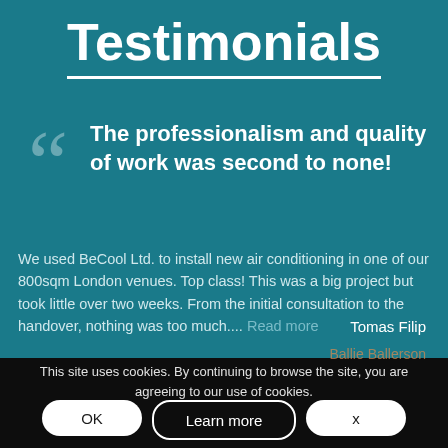Testimonials
The professionalism and quality of work was second to none!
We used BeCool Ltd. to install new air conditioning in one of our 800sqm London venues. Top class! This was a big project but took little over two weeks. From the initial consultation to the handover, nothing was too much.... Read more
Tomas Filip
Ballie Ballerson
This site uses cookies. By continuing to browse the site, you are agreeing to our use of cookies.
OK
Learn more
x